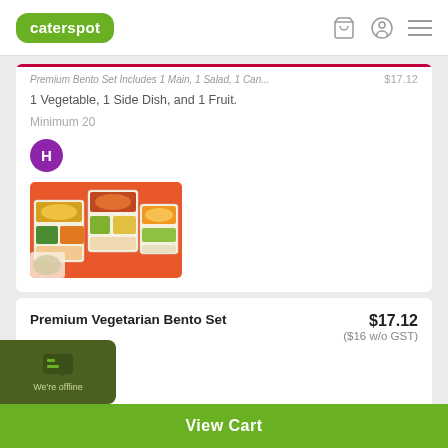caterspot
1 Vegetable, 1 Side Dish, and 1 Fruit.
Minimum 20
[Figure (photo): Bento box meal with various Japanese dishes in compartments on orange background]
Premium Vegetarian Bento Set
$17.12
($16 w/o GST)
Minimum 20
View Cart
We're offline